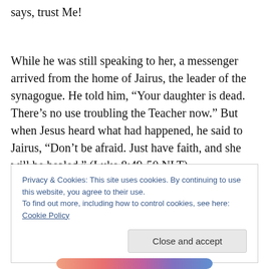says, trust Me!
While he was still speaking to her, a messenger arrived from the home of Jairus, the leader of the synagogue. He told him, “Your daughter is dead. There’s no use troubling the Teacher now.” But when Jesus heard what had happened, he said to Jairus, “Don’t be afraid. Just have faith, and she will be healed.” (Luke 8:49-50 NLT)
Privacy & Cookies: This site uses cookies. By continuing to use this website, you agree to their use. To find out more, including how to control cookies, see here: Cookie Policy
[Figure (other): Gradient colored bar at the bottom of the page]